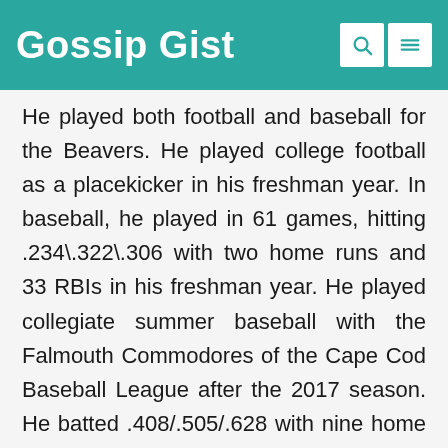Gossip Gist
He played both football and baseball for the Beavers. He played college football as a placekicker in his freshman year. In baseball, he played in 61 games, hitting .234\.322\.306 with two home runs and 33 RBIs in his freshman year. He played collegiate summer baseball with the Falmouth Commodores of the Cape Cod Baseball League after the 2017 season. He batted .408/.505/.628 with nine home runs and 83 RBIs as a